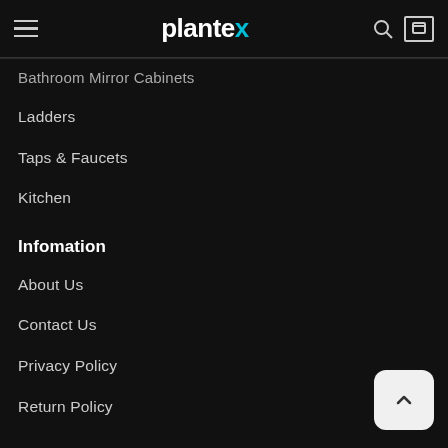plantex — navigation header with hamburger menu, search icon, and cart icon
Bathroom Mirror Cabinets
Ladders
Taps & Faucets
Kitchen
Infomation
About Us
Contact Us
Privacy Policy
Return Policy
Quick Links
My Account
Order History
Order Tracking